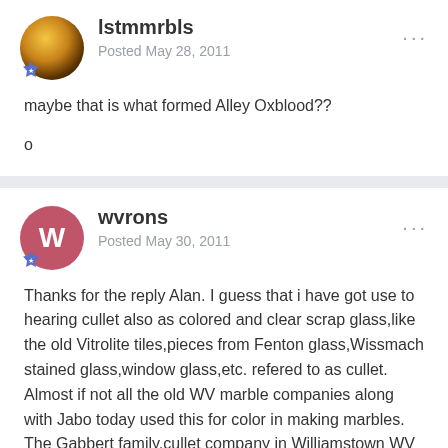lstmmrbls
Posted May 28, 2011
maybe that is what formed Alley Oxblood??
o
wvrons
Posted May 30, 2011
Thanks for the reply Alan. I guess that i have got use to hearing cullet also as colored and clear scrap glass,like the old Vitrolite tiles,pieces from Fenton glass,Wissmach stained glass,window glass,etc. refered to as cullet. Almost if not all the old WV marble companies along with Jabo today used this for color in making marbles. The Gabbert family,cullet company in Williamstown WV since the early 1930,s still hauls and supplies cullet or colorant,today to Jabo and others. Not all but a big percentage is